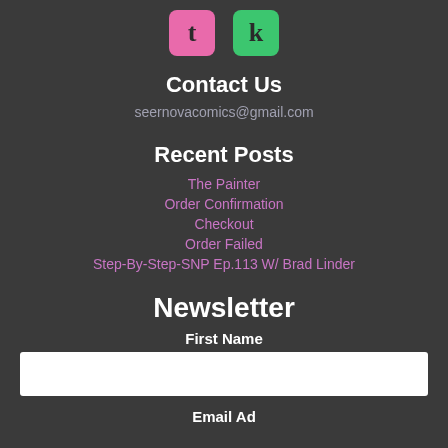[Figure (logo): Two social media icon buttons: a pink/magenta rounded square with letter 't' (Tumblr) and a green rounded square with letter 'k' (Kickstarter or similar)]
Contact Us
seernovacomics@gmail.com
Recent Posts
The Painter
Order Confirmation
Checkout
Order Failed
Step-By-Step-SNP Ep.113 W/ Brad Linder
Newsletter
First Name
Email Address